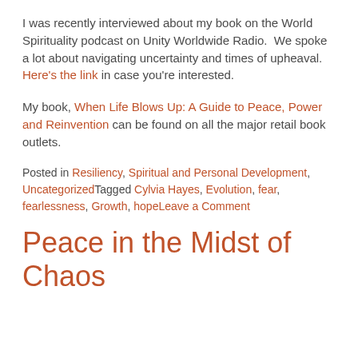I was recently interviewed about my book on the World Spirituality podcast on Unity Worldwide Radio.  We spoke a lot about navigating uncertainty and times of upheaval. Here's the link in case you're interested.
My book, When Life Blows Up: A Guide to Peace, Power and Reinvention can be found on all the major retail book outlets.
Posted in Resiliency, Spiritual and Personal Development, UncategorizedTagged Cylvia Hayes, Evolution, fear, fearlessness, Growth, hopeLeave a Comment
Peace in the Midst of Chaos